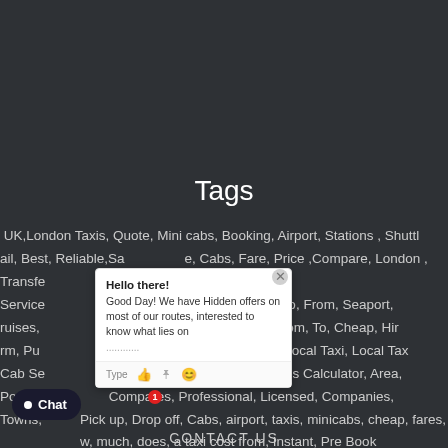Tags
UK,London Taxis, Quote, Mini cabs, Booking, Airport, Stations , Shuttle, rail, Best, Reliable,Safe, Cabs, Fare, Price ,Compare, London , Transfer, Service, ion, Chauffeur, Cars, Station, To, From, Seaport, ruises, twick, Stansted , Luton , In, From, To, Cheap, Hirm, Pu, e, Fixed, Cost, Low, On line, Local Taxi, Local Tax, Cab Se, e, Luxury, Numbers, Taxi Fares Calculator, Area, PostC, Compares, Professional, Licensed, Companies, Towns, Pick up, Drop off, Cabs, airport, taxis, minicabs, cheap, fares, w, much, does, a taxi cost from, Instant, Pre Book
[Figure (screenshot): Live chat popup with message: Hello there! Good Day! We have Hidden offers on most of our routes, interested to know what lies on...]
CONTACT US